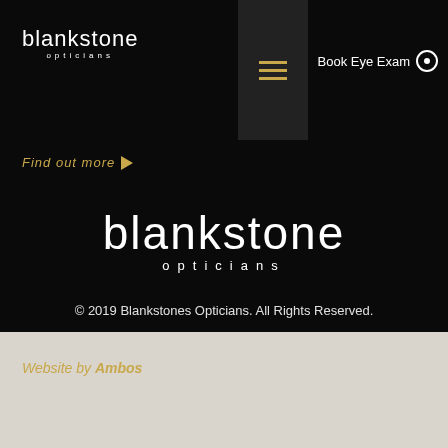blankstone opticians
Book Eye Exam
Find out more →
[Figure (logo): Blankstone Opticians logo in large white text on black background, with 'blankstone' in large lowercase letters and 'opticians' in smaller spaced letters below]
© 2019 Blankstones Opticians. All Rights Reserved.
Website by Ambos